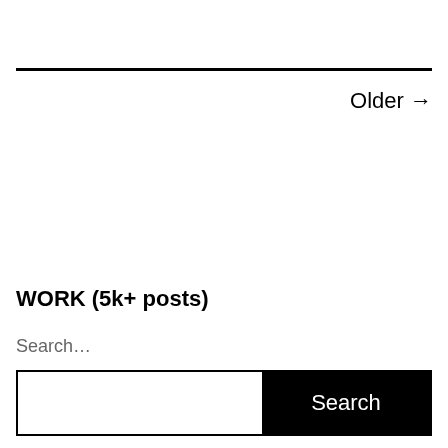Older →
WORK (5k+ posts)
Search…
Search